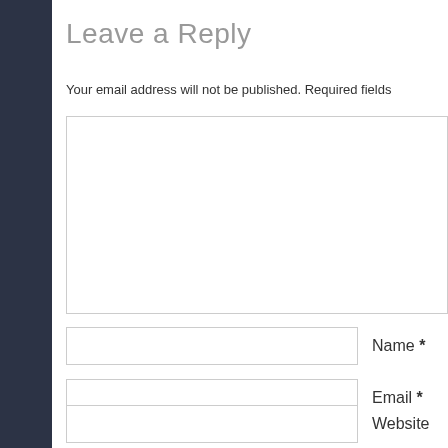Leave a Reply
Your email address will not be published. Required fields
[Figure (other): Comment text area input box (empty)]
Name *
Email *
Website